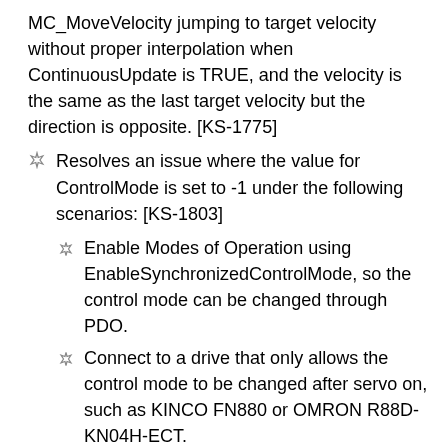MC_MoveVelocity jumping to target velocity without proper interpolation when ContinuousUpdate is TRUE, and the velocity is the same as the last target velocity but the direction is opposite. [KS-1775]
Resolves an issue where the value for ControlMode is set to -1 under the following scenarios: [KS-1803]
Enable Modes of Operation using EnableSynchronizedControlMode, so the control mode can be changed through PDO.
Connect to a drive that only allows the control mode to be changed after servo on, such as KINCO FN880 or OMRON R88D-KN04H-ECT.